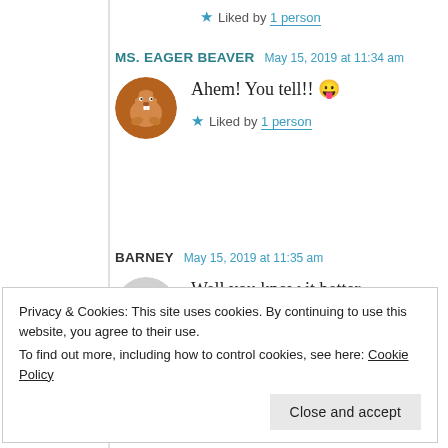★ Liked by 1 person
MS. EAGER BEAVER   May 15, 2019 at 11:34 am
Ahem! You tell!! 😛
★ Liked by 1 person
BARNEY   May 15, 2019 at 11:35 am
Well you know it better.
You just hesitate.
Privacy & Cookies: This site uses cookies. By continuing to use this website, you agree to their use.
To find out more, including how to control cookies, see here: Cookie Policy